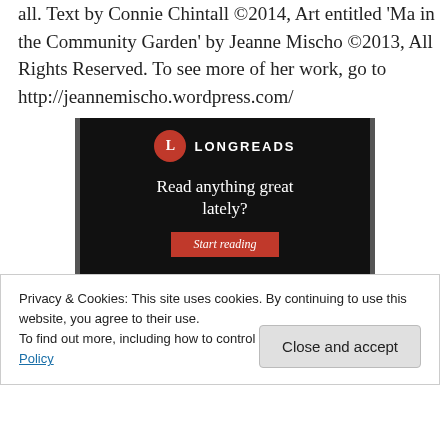all. Text by Connie Chintall ©2014, Art entitled 'Ma in the Community Garden' by Jeanne Mischo ©2013, All Rights Reserved. To see more of her work, go to http://jeannemischo.wordpress.com/
[Figure (screenshot): Longreads advertisement banner with black background, red circle logo with 'L', text 'LONGREADS', tagline 'Read anything great lately?' and a red 'Start reading' button.]
Privacy & Cookies: This site uses cookies. By continuing to use this website, you agree to their use.
To find out more, including how to control cookies, see here: Cookie Policy